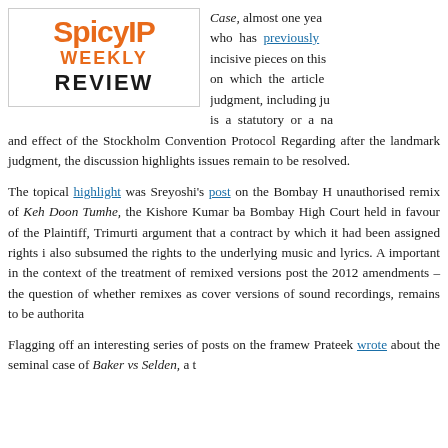[Figure (logo): SpicyIP Weekly Review logo with orange text]
Case, almost one year who has previously incisive pieces on this on which the article judgment, including ju is a statutory or a na and effect of the Stockholm Convention Protocol Regarding after the landmark judgment, the discussion highlights issues remain to be resolved.
The topical highlight was Sreyoshi's post on the Bombay H unauthorised remix of Keh Doon Tumhe, the Kishore Kumar ba Bombay High Court held in favour of the Plaintiff, Trimurti argument that a contract by which it had been assigned rights i also subsumed the rights to the underlying music and lyrics. A important in the context of the treatment of remixed versions post the 2012 amendments – the question of whether remixes as cover versions of sound recordings, remains to be authorita
Flagging off an interesting series of posts on the framew Prateek wrote about the seminal case of Baker vs Selden, a t